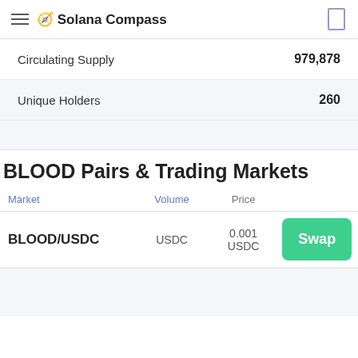🧭 Solana Compass
|  |  |
| --- | --- |
| Circulating Supply | 979,878 |
| Unique Holders | 260 |
BLOOD Pairs & Trading Markets
| Market | Volume | Price |  |
| --- | --- | --- | --- |
| BLOOD/USDC | USDC | 0.001 USDC | Swap |